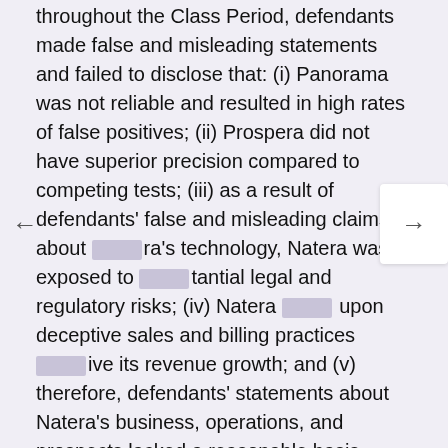throughout the Class Period, defendants made false and misleading statements and failed to disclose that: (i) Panorama was not reliable and resulted in high rates of false positives; (ii) Prospera did not have superior precision compared to competing tests; (iii) as a result of defendants' false and misleading claims about [Nate]ra's technology, Natera was exposed to [subs]tantial legal and regulatory risks; (iv) Natera [relied] upon deceptive sales and billing practices [to dr]ive its revenue growth; and (v) therefore, defendants' statements about Natera's business, operations, and prospects lacked a reasonable basis.
On January 1, 2022, The New York Times published a detailed report calling into question the accuracy of certain prenatal tests manufactured by Natera and other diagnostic